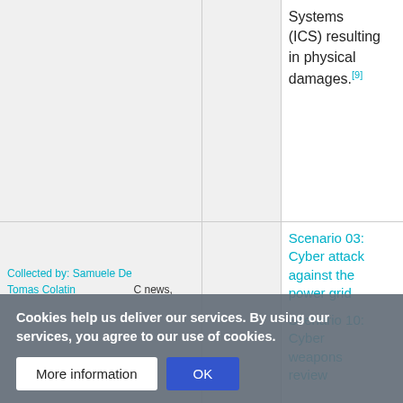|  |  |  |
| --- | --- | --- |
|  |  | Systems (ICS) resulting in physical damages.[9] |
|  | Analysed in | Scenario 03: Cyber attack against the power grid
Scenario 10: Cyber weapons review |
Cookies help us deliver our services. By using our services, you agree to our use of cookies.
Collected by: Samuele De
Tomas Colatin
C news,